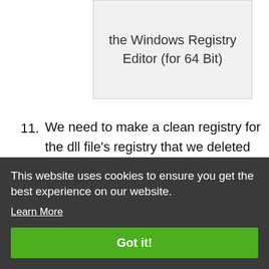[Figure (screenshot): Screenshot showing text: the Windows Registry Editor (for 64 Bit)]
11. We need to make a clean registry for the dll file's registry that we deleted from Regedit (Windows Registry Editor). In order to accomplish this, copy and paste the command below into the Command Line and press Enter
This website uses cookies to ensure you get the best experience on our website.
Learn More
Got it!
[Figure (screenshot): Command prompt window showing: Microsoft Windows [Version 10.0.16299] (c) 2015 Microsoft Corporation. All rights reserved.]